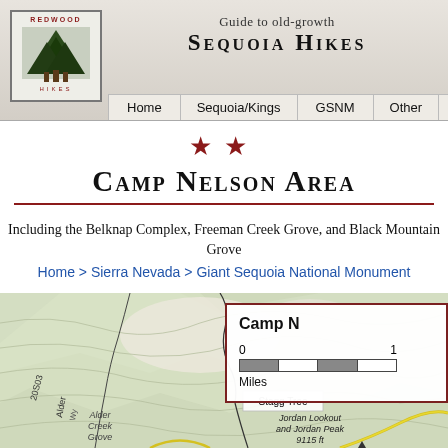Guide to old-growth SEQUOIA HIKES | Home | Sequoia/Kings | GSNM | Other
Camp Nelson Area
Including the Belknap Complex, Freeman Creek Grove, and Black Mountain Grove
Home > Sierra Nevada > Giant Sequoia National Monument
[Figure (map): Topographic trail map of the Camp Nelson Area showing Alder Creek Grove, Stagg Tree, Jordan Lookout and Jordan Peak (9115 ft), road 20S03. Inset shows scale bar in miles labeled 'Camp N...' (Camp Nelson).]